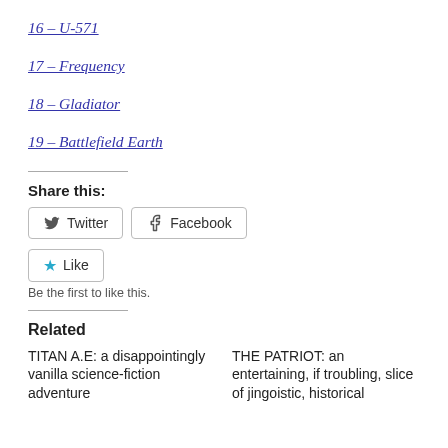16 – U-571
17 – Frequency
18 – Gladiator
19 – Battlefield Earth
Share this:
Twitter  Facebook
Like
Be the first to like this.
Related
TITAN A.E: a disappointingly vanilla science-fiction adventure
THE PATRIOT: an entertaining, if troubling, slice of jingoistic, historical